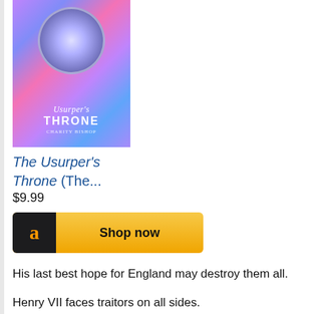[Figure (illustration): Book cover for 'The Usurper's Throne' with colorful abstract background, circular design at top, and title text]
The Usurper's Throne (The...
$9.99
[Figure (other): Amazon 'Shop now' button with black Amazon logo icon on left and golden yellow button]
His last best hope for England may destroy them all.
Henry VII faces traitors on all sides.
In a darkened abbey in Hampshire, a dozen monks conspire agains...
In a French garrison, a governor favors his enemies.
And one of them holds a secret to devastate England.
Katharine of Aragon arrives in the midst of a storm, bought in a trai... Edward Plantagenet turned the queen's cousin, the Duke of Suffolk... since fled to the Netherlands to recruit an invading army. Henry hop... daughter in law close, but Suffolk's allies stir corruption in Wales...